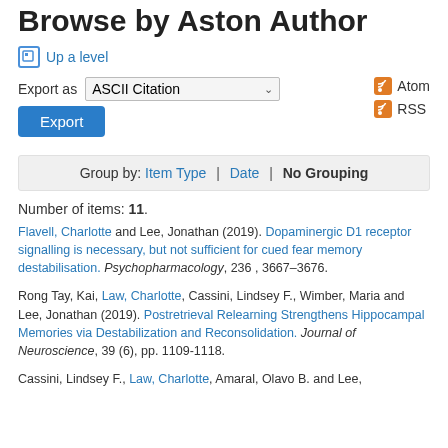Browse by Aston Author
Up a level
Export as ASCII Citation  Export   Atom  RSS
Group by: Item Type | Date | No Grouping
Number of items: 11.
Flavell, Charlotte and Lee, Jonathan (2019). Dopaminergic D1 receptor signalling is necessary, but not sufficient for cued fear memory destabilisation. Psychopharmacology, 236 , 3667–3676.
Rong Tay, Kai, Law, Charlotte, Cassini, Lindsey F., Wimber, Maria and Lee, Jonathan (2019). Postretrieval Relearning Strengthens Hippocampal Memories via Destabilization and Reconsolidation. Journal of Neuroscience, 39 (6), pp. 1109-1118.
Cassini, Lindsey F., Law, Charlotte, Amaral, Olavo B. and Lee,